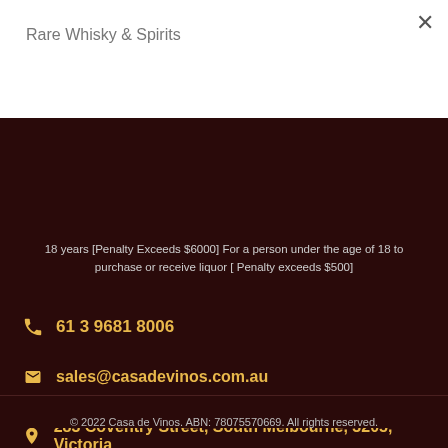Rare Whisky & Spirits
Subscribe
18 years [Penalty Exceeds $6000] For a person under the age of 18 to purchase or receive liquor [ Penalty exceeds $500]
61 3 9681 8006
sales@casadevinos.com.au
283 Coventry Street, South Melbourne, 3205, Victoria
© 2022 Casa de Vinos. ABN: 78075570669. All rights reserved.